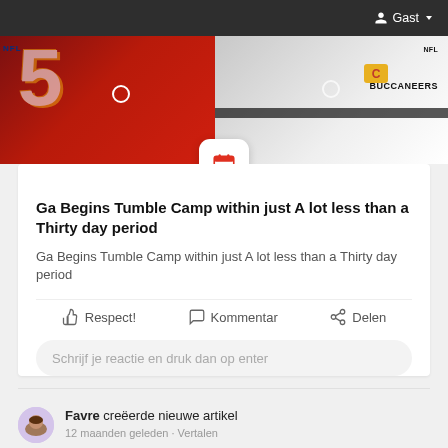Gast
[Figure (photo): NFL football players in jerseys — red Kansas City Chiefs jersey on left, white Tampa Bay Buccaneers jersey on right]
Ga Begins Tumble Camp within just A lot less than a Thirty day period
Ga Begins Tumble Camp within just A lot less than a Thirty day period
Respect! Kommentar Delen
Schrijf je reactie en druk dan op enter
Favre creëerde nieuwe artikel
12 maanden geleden · Vertalen